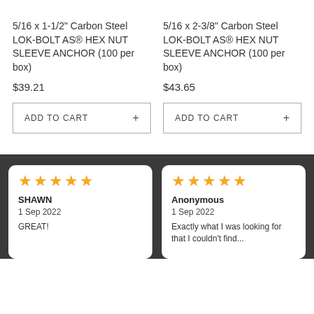5/16 x 1-1/2" Carbon Steel LOK-BOLT AS® HEX NUT SLEEVE ANCHOR (100 per box)
$39.21
ADD TO CART +
5/16 x 2-3/8" Carbon Steel LOK-BOLT AS® HEX NUT SLEEVE ANCHOR (100 per box)
$43.65
ADD TO CART +
★★★★★ SHAWN 1 Sep 2022 GREAT!
★★★★★ Anonymous 1 Sep 2022 Exactly what I was looking for that I couldn't find...